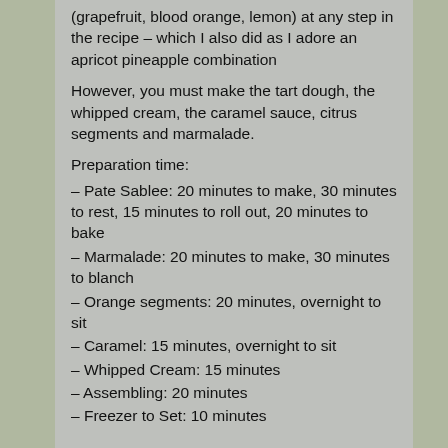(grapefruit, blood orange, lemon) at any step in the recipe – which I also did as I adore an apricot pineapple combination
However, you must make the tart dough, the whipped cream, the caramel sauce, citrus segments and marmalade.
Preparation time:
– Pate Sablee: 20 minutes to make, 30 minutes to rest, 15 minutes to roll out, 20 minutes to bake
– Marmalade: 20 minutes to make, 30 minutes to blanch
– Orange segments: 20 minutes, overnight to sit
– Caramel: 15 minutes, overnight to sit
– Whipped Cream: 15 minutes
– Assembling: 20 minutes
– Freezer to Set: 10 minutes